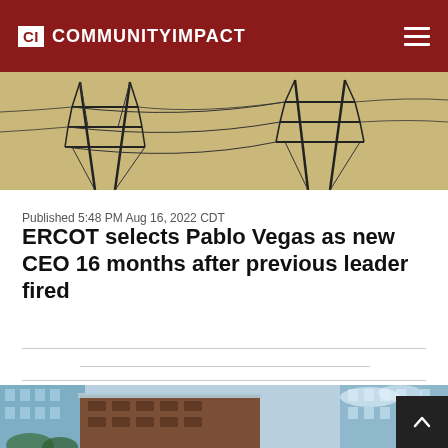CI COMMUNITYIMPACT
[Figure (photo): Power transmission towers/pylons against a warm sky background]
Published 5:48 PM Aug 16, 2022 CDT
ERCOT selects Pablo Vegas as new CEO 16 months after previous leader fired
[Figure (photo): Modern buildings/urban architecture with glass and metal facades under a blue sky]